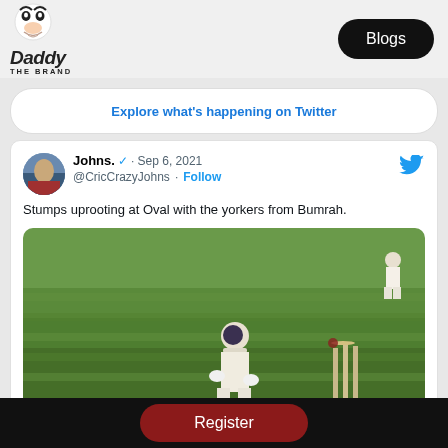Daddy THE BRAND — Blogs
Explore what's happening on Twitter
Johns. · Sep 6, 2021
@CricCrazyJohns · Follow
Stumps uprooting at Oval with the yorkers from Bumrah.
[Figure (photo): Cricket match photo showing a batsman at the crease with stumps being uprooted, green field background, taken at The Oval]
Register